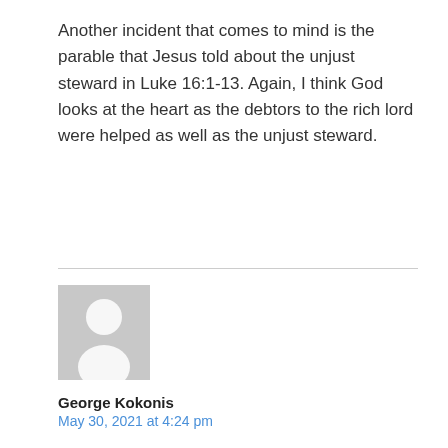Another incident that comes to mind is the parable that Jesus told about the unjust steward in Luke 16:1-13. Again, I think God looks at the heart as the debtors to the rich lord were helped as well as the unjust steward.
[Figure (illustration): Generic user avatar placeholder image — grey square with white silhouette of a person]
George Kokonis
May 30, 2021 at 4:24 pm
Great discussion Bill.

I have been wondering about this lately.

Shalom